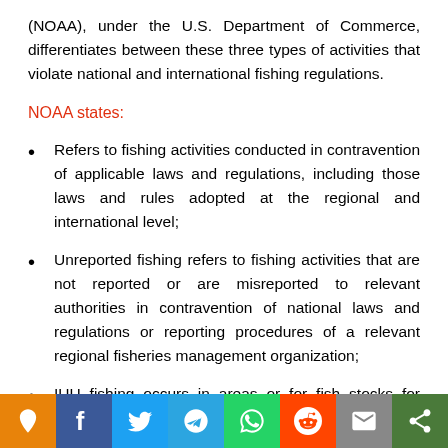(NOAA), under the U.S. Department of Commerce, differentiates between these three types of activities that violate national and international fishing regulations.
NOAA states:
Refers to fishing activities conducted in contravention of applicable laws and regulations, including those laws and rules adopted at the regional and international level;
Unreported fishing refers to fishing activities that are not reported or are misreported to relevant authorities in contravention of national laws and regulations or reporting procedures of a relevant regional fisheries management organization;
IUU fishing occurs in areas or for fish stocks for which there is no applicable conservation or management